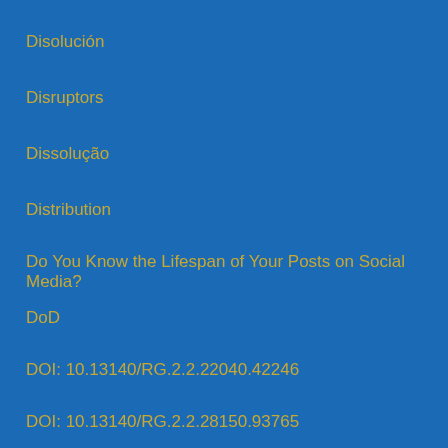Disolución
Disruptors
Dissolução
Distribution
Do You Know the Lifespan of Your Posts on Social Media?
DoD
DOI: 10.13140/RG.2.2.22040.42246
DOI: 10.13140/RG.2.2.28150.93765
Dr Harold Kerzner